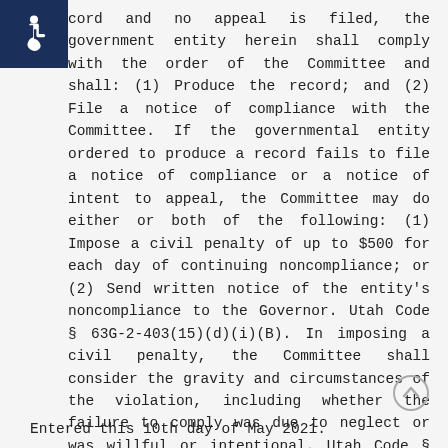[Figure (other): Accessibility icon (wheelchair symbol) in dark blue square, top-left corner]
cord and no appeal is filed, the government entity herein shall comply with the order of the Committee and shall: (1) Produce the record; and (2) File a notice of compliance with the Committee. If the governmental entity ordered to produce a record fails to file a notice of compliance or a notice of intent to appeal, the Committee may do either or both of the following: (1) Impose a civil penalty of up to $500 for each day of continuing noncompliance; or (2) Send written notice of the entity's noncompliance to the Governor. Utah Code § 63G-2-403(15)(d)(i)(B). In imposing a civil penalty, the Committee shall consider the gravity and circumstances of the violation, including whether the failure to comply was due to neglect or was willful or intentional. Utah Code § 63G-2-403(15)(d)(ii).
Entered this 10th day of May 2021.